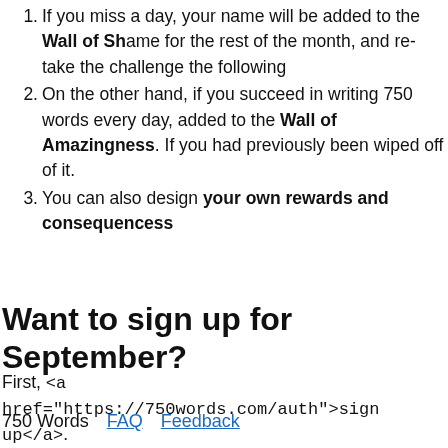If you miss a day, your name will be added to the Wall of Shame for the rest of the month, and re-take the challenge the following
On the other hand, if you succeed in writing 750 words every day, added to the Wall of Amazingness. If you had previously been wiped off of it.
You can also design your own rewards and consequencess
Want to sign up for September?
First, <a href="https://750words.com/auth">sign up</a>.
750 Words   FAQ   Feedback